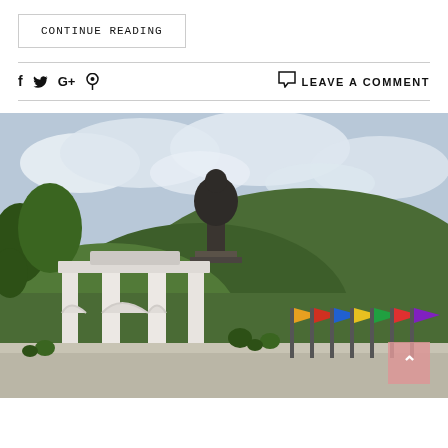CONTINUE READING
f  t  G+  🅿  LEAVE A COMMENT
[Figure (photo): Photo of a large Buddha statue (Tian Tan Buddha) on a hilltop, with a white traditional Chinese gate/archway in the foreground, lush green trees, colorful flags, and a cloudy sky. Location appears to be Lantau Island, Hong Kong.]